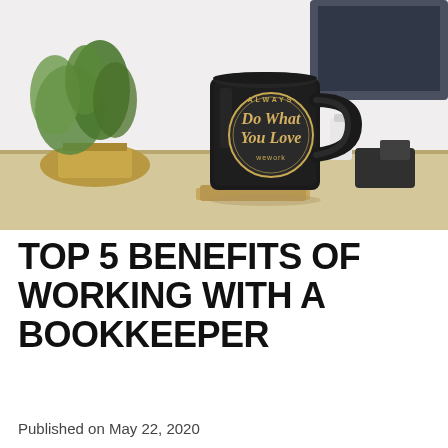[Figure (photo): A black ceramic mug with 'Always Do What You Love' text and WeWork logo, sitting on a wooden coaster on a desk. Background shows a blurred green plant in a gold pot on the left, and a monitor/laptop screen on the upper right.]
TOP 5 BENEFITS OF WORKING WITH A BOOKKEEPER
Published on May 22, 2020